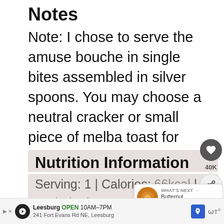Notes
Note: I chose to serve the amuse bouche in single bites assembled in silver spoons. You may choose a neutral cracker or small piece of melba toast for serving.
Nutrition Information
Serving: 1 | Calories: 66kcal | Carbohydrates: 11g | Protein: 2g | Fat: 2g | Saturated Fat: 1g | Polyunsaturated Fat: 1g |
[Figure (screenshot): UI overlay with heart/save button showing 40K saves, share button, and a 'What's Next' card showing Butternut Squash with...]
[Figure (screenshot): Advertisement bar at bottom: Leesburg OPEN 10AM-7PM, 241 Fort Evans Rd NE, Leesburg]